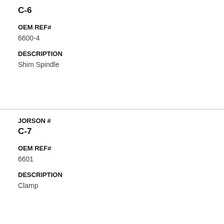C-6
OEM REF#
6600-4
DESCRIPTION
Shim Spindle
JORSON #
C-7
OEM REF#
6601
DESCRIPTION
Clamp